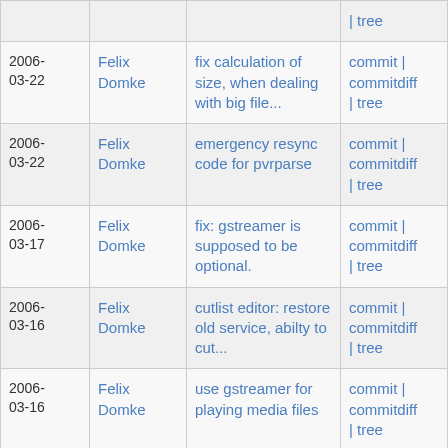| Date | Author | Commit message | Links |
| --- | --- | --- | --- |
|  |  |  | | tree |
| 2006-03-22 | Felix Domke | fix calculation of size, when dealing with big file... | commit | commitdiff | tree |
| 2006-03-22 | Felix Domke | emergency resync code for pvrparse | commit | commitdiff | tree |
| 2006-03-17 | Felix Domke | fix: gstreamer is supposed to be optional. | commit | commitdiff | tree |
| 2006-03-16 | Felix Domke | cutlist editor: restore old service, abilty to cut... | commit | commitdiff | tree |
| 2006-03-16 | Felix Domke | use gstreamer for playing media files | commit | commitdiff | tree |
| 2006- | Felix | use gstreamer, if available | commit | |